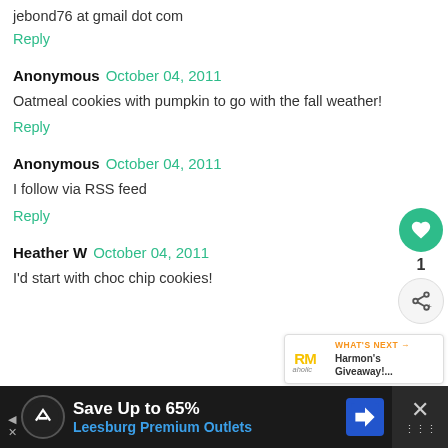jebond76 at gmail dot com
Reply
Anonymous  October 04, 2011
Oatmeal cookies with pumpkin to go with the fall weather!
Reply
Anonymous  October 04, 2011
I follow via RSS feed
Reply
Heather W  October 04, 2011
I'd start with choc chip cookies!
WHAT'S NEXT → Harmon's Giveaway!...
Save Up to 65% Leesburg Premium Outlets